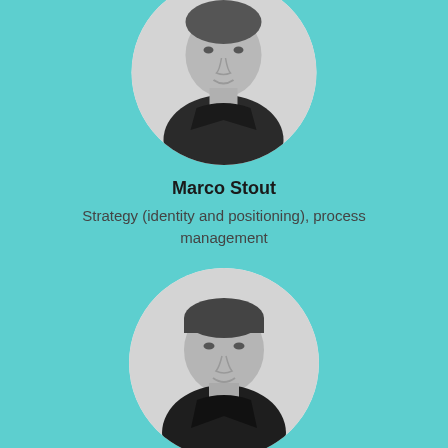[Figure (photo): Black and white circular portrait photo of Marco Stout, a man in a dark shirt, top of page]
Marco Stout
Strategy (identity and positioning), process management
[Figure (photo): Black and white circular portrait photo of a man in a dark shirt, bottom of page]